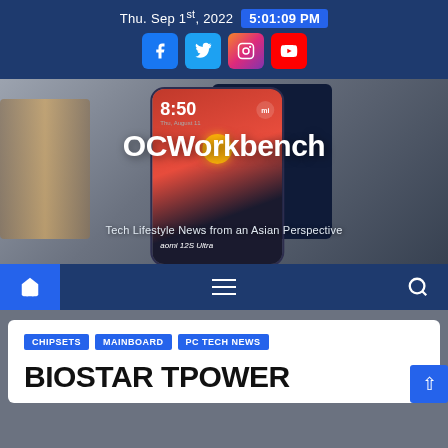Thu. Sep 1st, 2022  5:01:09 PM
[Figure (screenshot): OCWorkbench website header with hero banner showing Xiaomi 12S Ultra phone, site name OCWorkbench, tagline Tech Lifestyle News from an Asian Perspective, and navigation bar with home, menu, and search icons]
CHIPSETS  MAINBOARD  PC TECH NEWS
BIOSTAR TPOWER